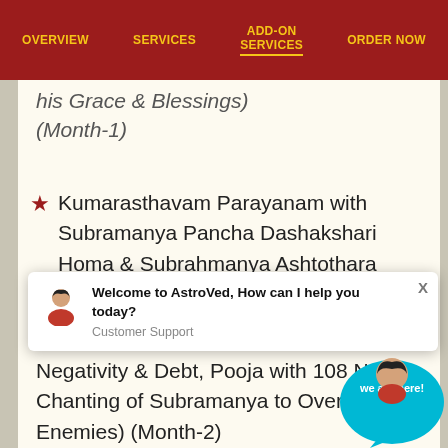OVERVIEW | SERVICES | ADD-ON SERVICES | ORDER NOW
his Grace & Blessings) (Month-1)
Kumarasthavam Parayanam with Subramanya Pancha Dashakshari Homa & Subrahmanya Ashtothara Archana (Enhance Blessings)
[Figure (other): Chat support popup with avatar: 'Welcome to AstroVed, How can I help you today? Customer Support']
Negativity & Debt, Pooja with 108 Names Chanting of Subramanya to Overcome Enemies) (Month-2)